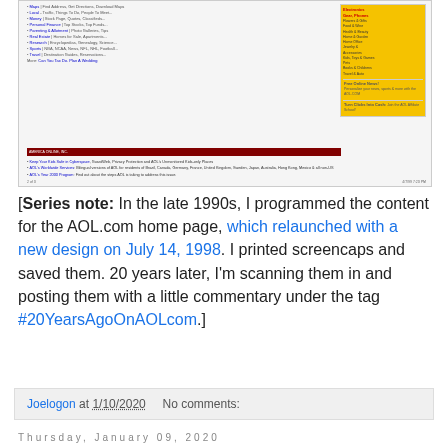[Figure (screenshot): Screenshot of AOL.com homepage circa 1998-2000, showing navigation links and yellow sidebar with shopping categories]
[Series note: In the late 1990s, I programmed the content for the AOL.com home page, which relaunched with a new design on July 14, 1998. I printed screencaps and saved them. 20 years later, I'm scanning them in and posting them with a little commentary under the tag #20YearsAgoOnAOLcom.]
Joelogon at 1/10/2020    No comments:
Thursday, January 09, 2020
#20YearsAgoOnAOLcom: Jan. 9, 2000